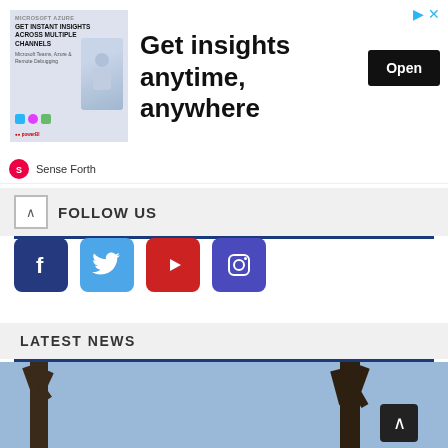[Figure (screenshot): Advertisement banner: Microsoft Azure ad showing 'Get insights anytime, anywhere' with an Open button, and a decorative image block on the left with text 'Get Instant Insights Across Multiple Channels']
Sense Forth
FOLLOW US
[Figure (infographic): Row of four social media icon buttons: Facebook (dark blue), Twitter (light blue), YouTube (red), Instagram (dark blue/purple)]
LATEST NEWS
[Figure (photo): Outdoor photo showing trees with bare branches against a sky background, partially visible at the bottom of the page]